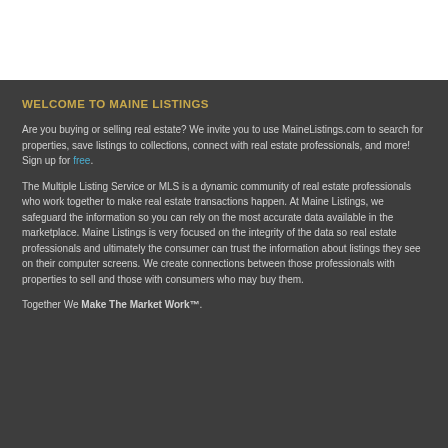WELCOME TO MAINE LISTINGS
Are you buying or selling real estate? We invite you to use MaineListings.com to search for properties, save listings to collections, connect with real estate professionals, and more! Sign up for free.
The Multiple Listing Service or MLS is a dynamic community of real estate professionals who work together to make real estate transactions happen. At Maine Listings, we safeguard the information so you can rely on the most accurate data available in the marketplace. Maine Listings is very focused on the integrity of the data so real estate professionals and ultimately the consumer can trust the information about listings they see on their computer screens. We create connections between those professionals with properties to sell and those with consumers who may buy them.
Together We Make The Market Work™.